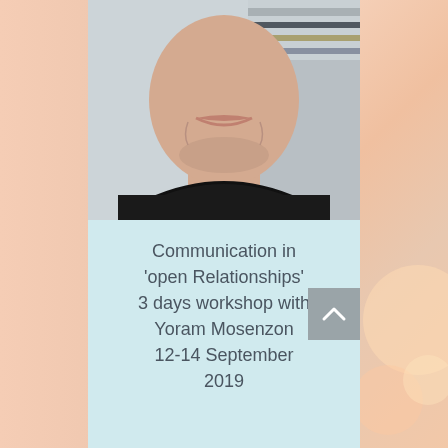[Figure (photo): Close-up photo of a smiling man in a black t-shirt, cropped to show from the nose/mouth down to the chest, with a blurred background of shelves.]
Communication in 'open Relationships' 3 days workshop with Yoram Mosenzon 12-14 September 2019